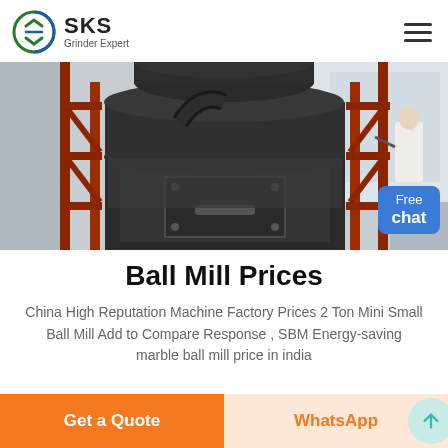SKS Grinder Expert
[Figure (photo): Industrial ball mill machine photographed from below, showing large dark cylindrical grinding equipment mounted on red metal scaffolding/stairs inside a factory building. A 'Free chat' button overlay appears in the bottom right corner.]
Ball Mill Prices
China High Reputation Machine Factory Prices 2 Ton Mini Small Ball Mill Add to Compare Response , SBM Energy-saving marble ball mill price in india